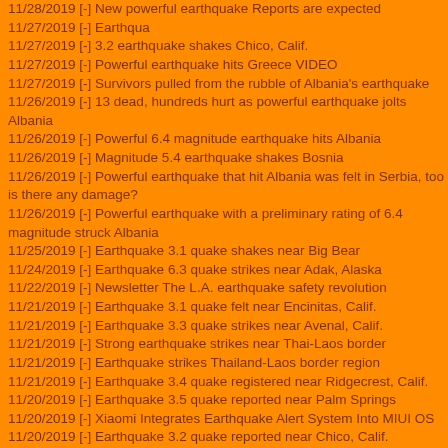11/28/2019 [-] New powerful earthquake Reports are expected
11/27/2019 [-] Earthqua
11/27/2019 [-] 3.2 earthquake shakes Chico, Calif.
11/27/2019 [-] Powerful earthquake hits Greece VIDEO
11/27/2019 [-] Survivors pulled from the rubble of Albania's earthquake
11/26/2019 [-] 13 dead, hundreds hurt as powerful earthquake jolts Albania
11/26/2019 [-] Powerful 6.4 magnitude earthquake hits Albania
11/26/2019 [-] Magnitude 5.4 earthquake shakes Bosnia
11/26/2019 [-] Powerful earthquake that hit Albania was felt in Serbia, too is there any damage?
11/26/2019 [-] Powerful earthquake with a preliminary rating of 6.4 magnitude struck Albania
11/25/2019 [-] Earthquake 3.1 quake shakes near Big Bear
11/24/2019 [-] Earthquake 6.3 quake strikes near Adak, Alaska
11/22/2019 [-] Newsletter The L.A. earthquake safety revolution
11/21/2019 [-] Earthquake 3.1 quake felt near Encinitas, Calif.
11/21/2019 [-] Earthquake 3.3 quake strikes near Avenal, Calif.
11/21/2019 [-] Strong earthquake strikes near Thai-Laos border
11/21/2019 [-] Earthquake strikes Thailand-Laos border region
11/21/2019 [-] Earthquake 3.4 quake registered near Ridgecrest, Calif.
11/20/2019 [-] Earthquake 3.5 quake reported near Palm Springs
11/20/2019 [-] Xiaomi Integrates Earthquake Alert System Into MIUI OS
11/20/2019 [-] Earthquake 3.2 quake reported near Chico, Calif.
11/18/2019 [-] Earthquake 3.1 quake strikes near Brawley, Calif.
11/15/2019 [-] Earthquake Bird Official Trailer.